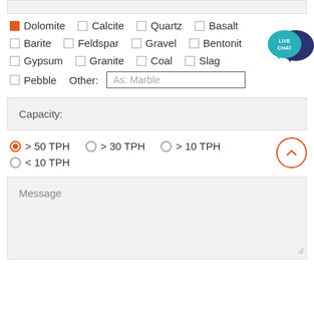Dolomite (checked), Calcite, Quartz, Basalt
Barite, Feldspar, Gravel, Bentonite
Gypsum, Granite, Coal, Slag
Pebble, Other: As: Marble
Capacity:
> 50 TPH (selected), > 30 TPH, > 10 TPH
< 10 TPH
Message